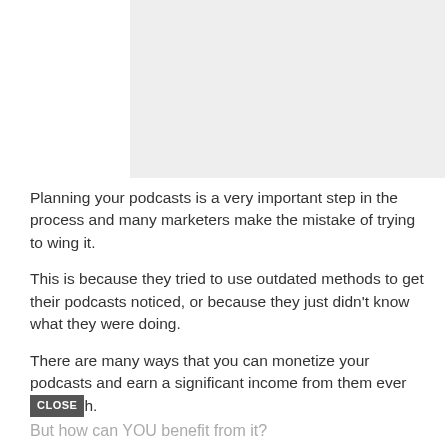[Figure (other): Gray placeholder image box in the upper right area of the page]
Planning your podcasts is a very important step in the process and many marketers make the mistake of trying to wing it.
This is because they tried to use outdated methods to get their podcasts noticed, or because they just didn't know what they were doing.
There are many ways that you can monetize your podcasts and earn a significant income from them ever[CLOSE button overlay]h.
But how can YOU benefit from it?